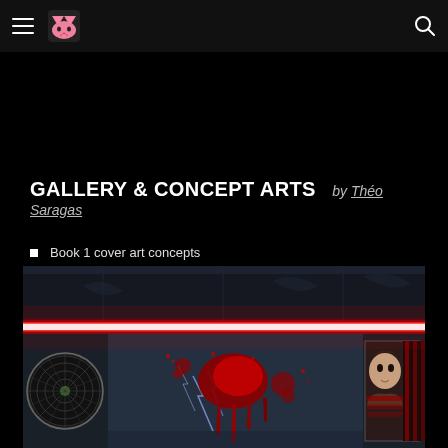Navigation bar with hamburger menu, cat logo, and search icon
GALLERY & CONCEPT ARTS  by Théo Saragas
Book 1 cover art concepts
[Figure (illustration): Dark atmospheric interior scene with neon red horizontal light strip, dart board on the left, bloody splash/drip art on the wall, lightning effects, and a person visible on the right side in red-striped clothing]